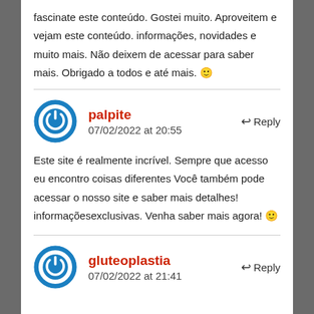fascinate este conteúdo. Gostei muito. Aproveitem e vejam este conteúdo. informações, novidades e muito mais. Não deixem de acessar para saber mais. Obrigado a todos e até mais. 🙂
palpite says: 07/02/2022 at 20:55 ↩ Reply
Este site é realmente incrível. Sempre que acesso eu encontro coisas diferentes Você também pode acessar o nosso site e saber mais detalhes! informaçõesexclusivas. Venha saber mais agora! 🙂
gluteoplastia says: 07/02/2022 at 21:41 ↩ Reply